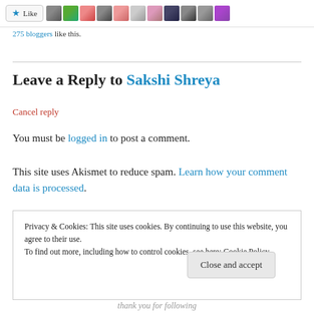[Figure (screenshot): Like button with star icon and row of avatar thumbnails]
275 bloggers like this.
Leave a Reply to Sakshi Shreya
Cancel reply
You must be logged in to post a comment.
This site uses Akismet to reduce spam. Learn how your comment data is processed.
Privacy & Cookies: This site uses cookies. By continuing to use this website, you agree to their use.
To find out more, including how to control cookies, see here: Cookie Policy
Close and accept
thank you for following